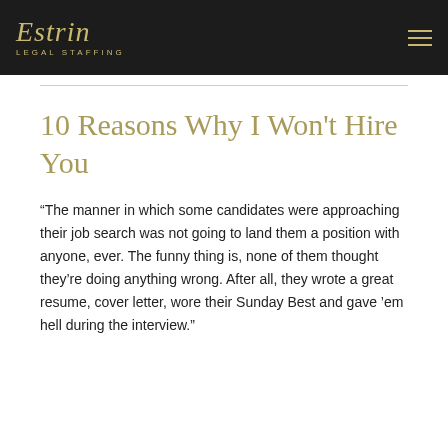Estrin Legal Staffing
10 Reasons Why I Won't Hire You
“The manner in which some candidates were approaching their job search was not going to land them a position with anyone, ever. The funny thing is, none of them thought they’re doing anything wrong. After all, they wrote a great resume, cover letter, wore their Sunday Best and gave ’em hell during the interview.”